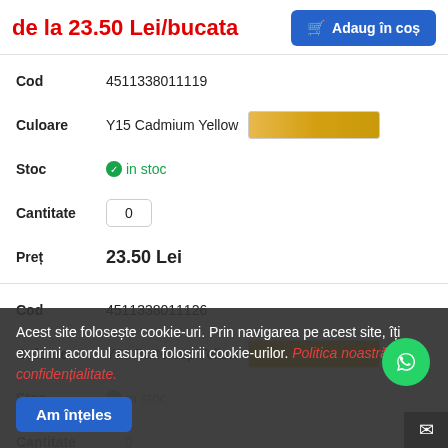de la 23.50 Lei/bucata
Adaug în coș
| Field | Value |
| --- | --- |
| Cod | 4511338011119 |
| Culoare | Y15 Cadmium Yellow [swatch] |
| Stoc | in stoc |
| Cantitate | 0 |
| Preț | 23.50 Lei |
| Field | Value |
| --- | --- |
| Cod | 4511338011126 |
| Culoare | Y21 Buttercup Yellow [swatch] |
| Stoc | in stoc |
| Cantitate | 0 |
| Preț | 23.50 Lei |
| Field | Value |
| --- | --- |
| Cod | 4511338011133 |
| Culoare | Y28 Lionet Yellow [swatch] |
Acest site folosește cookie-uri. Prin navigarea pe acest site, îți exprimi acordul asupra folosirii cookie-urilor. Politica noastră de confidențialitate.
Am înțeles